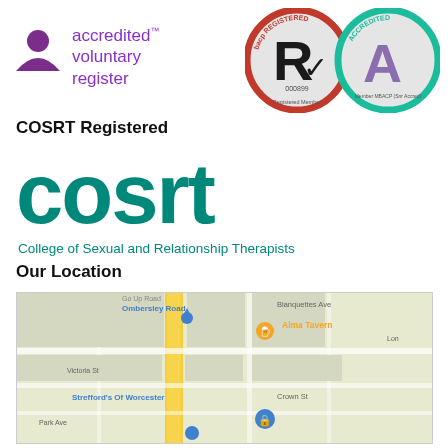[Figure (logo): Accredited Voluntary Register logo with purple person icon and text 'accredited voluntary register']
[Figure (logo): BACP Registered Member badge (000899) and BACP Accredited Member MBACP (Snr Accred) badge]
COSRT Registered
[Figure (logo): COSRT logo - large teal text 'cosrt' with subtitle 'College of Sexual and Relationship Therapists']
Our Location
[Figure (map): Google Maps screenshot showing area around Ombersley Road, Alma Tavern, Strefford's Of Worcester, Victoria St, Crown St, Blanquettes Ave]